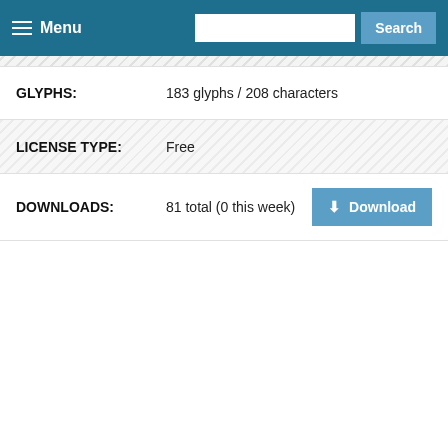Menu | Search
GLYPHS: 183 glyphs / 208 characters
LICENSE TYPE: Free
DOWNLOADS: 81 total (0 this week)